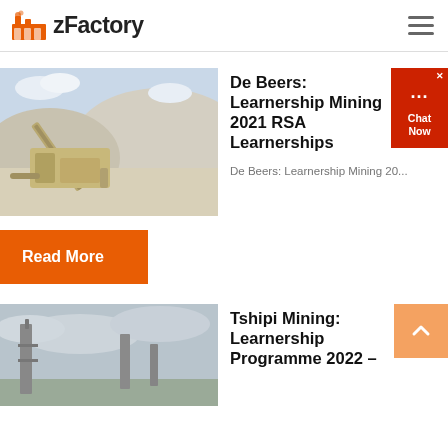zFactory
[Figure (photo): Mining equipment / conveyor belt and crusher at an open-pit mining site with limestone or similar white rock]
De Beers: Learnership Mining 2021 RSA Learnerships
De Beers: Learnership Mining 20...
Read More
[Figure (photo): Industrial/mining site with tower structures against an overcast sky]
Tshipi Mining: Learnership Programme 2022 –